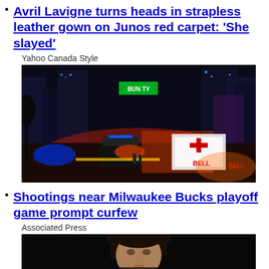Avril Lavigne turns heads in strapless leather gown on Junos red carpet: 'She slayed'
Yahoo Canada Style
[Figure (photo): Nighttime city street scene with police vehicles, ambulances with red and blue lights, and BELL vehicles visible. Buildings with illuminated signs in the background.]
Shootings near Milwaukee Bucks playoff game prompt curfew
Associated Press
[Figure (photo): Person with dark hair against a dark background, partially visible at bottom of page.]